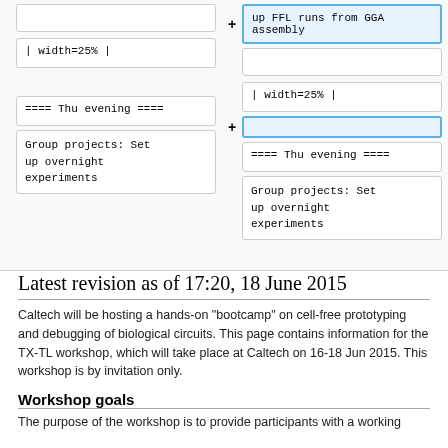[Figure (screenshot): A wiki diff view showing two columns. Left column has cells: empty cell, '| width=25% |', '==== Thu evening ====', 'Group projects: Set up overnight experiments'. Right column (with additions marked in blue) has cells: highlighted 'up FFL runs from GGA assembly' with + mark, empty cell, '| width=25% |', highlighted empty added cell with + mark, '==== Thu evening ====', 'Group projects: Set up overnight experiments'.]
Latest revision as of 17:20, 18 June 2015
Caltech will be hosting a hands-on "bootcamp" on cell-free prototyping and debugging of biological circuits. This page contains information for the TX-TL workshop, which will take place at Caltech on 16-18 Jun 2015. This workshop is by invitation only.
Workshop goals
The purpose of the workshop is to provide participants with a working